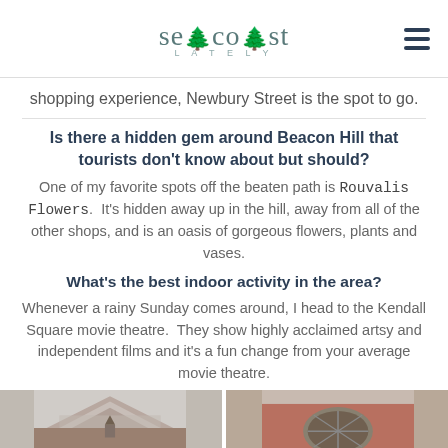Seacoast Lately
shopping experience, Newbury Street is the spot to go.
Is there a hidden gem around Beacon Hill that tourists don't know about but should?
One of my favorite spots off the beaten path is Rouvalis Flowers.  It's hidden away up in the hill, away from all of the other shops, and is an oasis of gorgeous flowers, plants and vases.
What's the best indoor activity in the area?
Whenever a rainy Sunday comes around, I head to the Kendall Square movie theatre.  They show highly acclaimed artsy and independent films and it's a fun change from your average movie theatre.
[Figure (photo): Two photos side by side at bottom: left shows a house with triangular gabled roof and gray shingles; right shows a brick building with an arched window.]